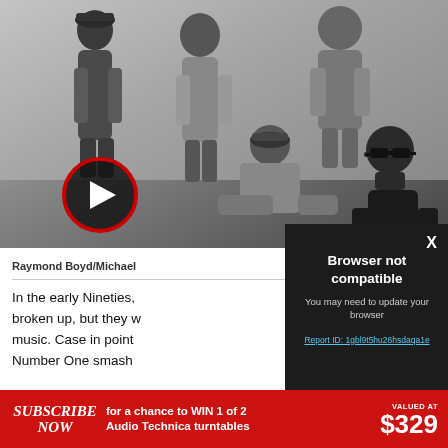[Figure (photo): Black and white group photo of five young men, one of whom is seated on the floor wearing sunglasses. A red-bordered circular play button is overlaid on the lower left portion of the image.]
Raymond Boyd/Michael...
In the early Nineties, broken up, but they w music. Case in point Number One smash
[Figure (screenshot): Browser compatibility error modal with dark background. Title: 'Browser not compatible'. Subtitle: 'You may need to update your browser'. Link text: 'Report ID: 1gbl9t5hu26hsdaqa1e'. An X close button is in the top right.]
Browser not compatible
You may need to update your browser
Report ID: 1gbl9t5hu26hsdaqa1e
[Figure (other): Subscribe banner: red background with italic bold 'SUBSCRIBE NOW' on left, center text 'for a chance to WIN 1 of 2 Audio Technica turntables', right side shows 'VALUED AT $329']